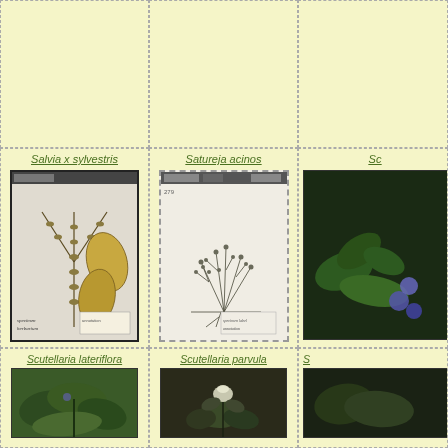[Figure (photo): Empty top-left cell with dashed border on yellow background]
[Figure (photo): Empty top-center cell with dashed border on yellow background]
[Figure (photo): Empty top-right cell (partially visible) with dashed border on yellow background]
Salvia x sylvestris
[Figure (photo): Herbarium specimen of Salvia x sylvestris showing branched stems with small leaves, pressed and dried botanical specimen on white paper with dark border]
Satureja acinos
[Figure (photo): Herbarium specimen of Satureja acinos showing small bushy plant with many branches, dotted border]
Sc
[Figure (photo): Partially visible plant photo (cut off at right edge) showing purple/blue flowers and green leaves on dark background]
Scutellaria lateriflora
[Figure (photo): Photo of Scutellaria lateriflora showing green leaves plant]
Scutellaria parvula
[Figure (photo): Photo of Scutellaria parvula showing a small plant with a white flower on dark background]
S
[Figure (photo): Partially visible third bottom cell cut off at right edge]